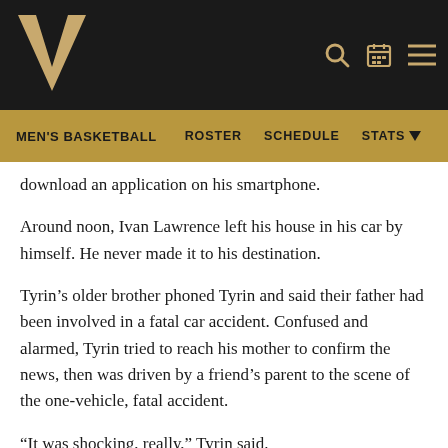[Figure (logo): Vanderbilt University V logo in gold on black header bar with search, calendar, and menu icons]
MEN'S BASKETBALL   ROSTER   SCHEDULE   STATS
download an application on his smartphone.
Around noon, Ivan Lawrence left his house in his car by himself. He never made it to his destination.
Tyrin's older brother phoned Tyrin and said their father had been involved in a fatal car accident. Confused and alarmed, Tyrin tried to reach his mother to confirm the news, then was driven by a friend's parent to the scene of the one-vehicle, fatal accident.
“It was shocking, really,” Tyrin said.